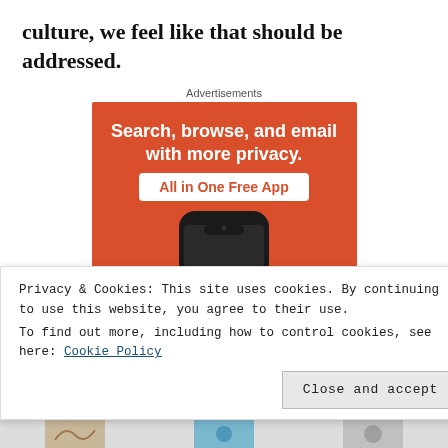culture, we feel like that should be addressed.
[Figure (illustration): DuckDuckGo advertisement on orange background. Text reads: 'Search, browse, and email with more privacy. All in One Free App'. Shows a smartphone with DuckDuckGo app icon and 'DuckDuckGo' label at the bottom.]
Privacy & Cookies: This site uses cookies. By continuing to use this website, you agree to their use.
To find out more, including how to control cookies, see here: Cookie Policy
Close and accept